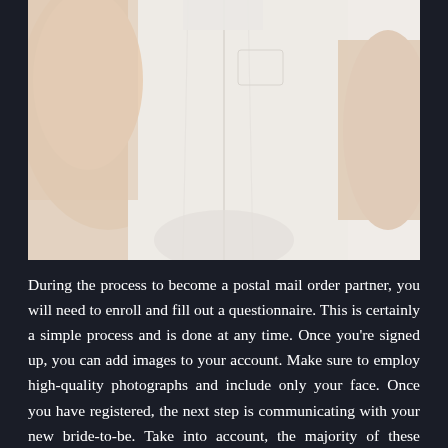[Figure (photo): Close-up photo of a person wearing a white short-sleeved button-up shirt, torso and arms visible, on a white background]
During the process to become a postal mail order partner, you will need to enroll and fill out a questionnaire. This is certainly a simple process and is done at any time. Once you're signed up, you can add images to your account. Make sure to employ high-quality photographs and include only your face. Once you have registered, the next step is communicating with your new bride-to-be. Take into account, the majority of these women are solitary and are trying to find love